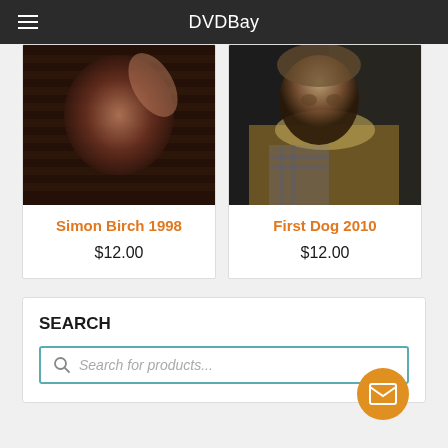DVDBay
[Figure (photo): Movie cover image for Simon Birch 1998 - dark dramatic scene with a person lying back]
Simon Birch 1998
$12.00
[Figure (photo): Movie cover image for First Dog 2010 - a young child in a jacket looking sideways]
First Dog 2010
$12.00
SEARCH
Search for products...